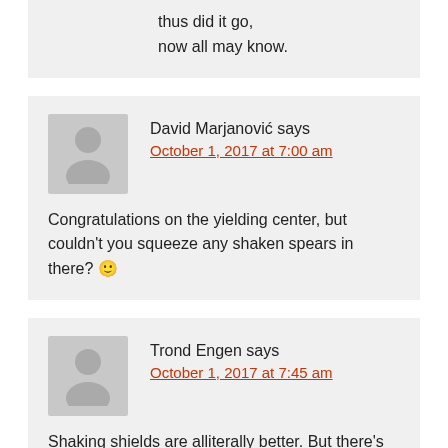thus did it go,
now all may know.
David Marjanović says
October 1, 2017 at 7:00 am
Congratulations on the yielding center, but couldn't you squeeze any shaken spears in there? 🙂
Trond Engen says
October 1, 2017 at 7:45 am
Shaking shields are alliterally better. But there's much I